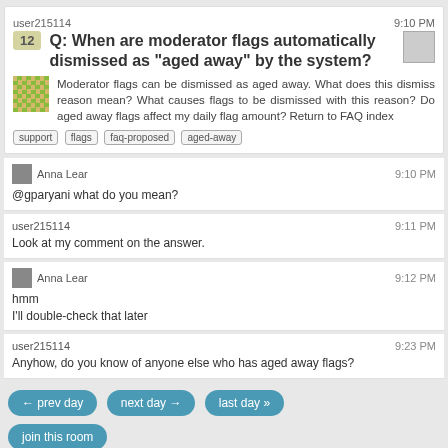user215114   9:10 PM
Q: When are moderator flags automatically dismissed as "aged away" by the system?
Moderator flags can be dismissed as aged away. What does this dismiss reason mean? What causes flags to be dismissed with this reason? Do aged away flags affect my daily flag amount? Return to FAQ index
support  flags  faq-proposed  aged-away
Anna Lear   9:10 PM
@gparyani what do you mean?
user215114   9:11 PM
Look at my comment on the answer.
Anna Lear   9:12 PM
hmm
I'll double-check that later
user215114   9:23 PM
Anyhow, do you know of anyone else who has aged away flags?
← prev day   next day →   last day »   join this room